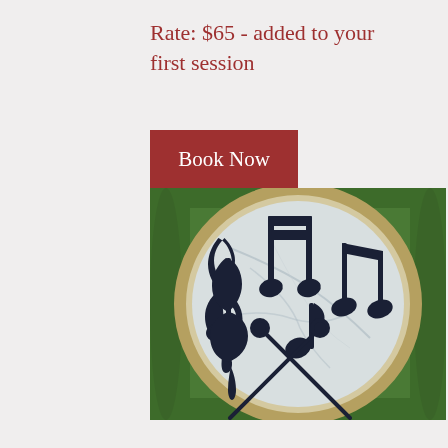Rate: $65 - added to your first session
Book Now
[Figure (photo): A circular drum (bodhran) lying on green grass with dark navy/black plastic music note symbols arranged on its surface — a treble clef, beamed eighth notes, a quarter note, and two drumsticks with mallets crossed over the drum head.]